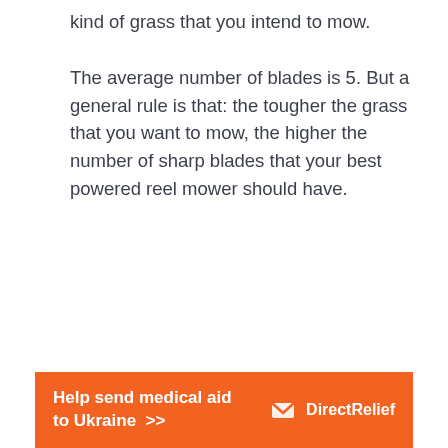kind of grass that you intend to mow.
The average number of blades is 5. But a general rule is that: the tougher the grass that you want to mow, the higher the number of sharp blades that your best powered reel mower should have.
[Figure (infographic): Orange advertisement banner for Direct Relief with text 'Help send medical aid to Ukraine >>' and Direct Relief logo on the right.]